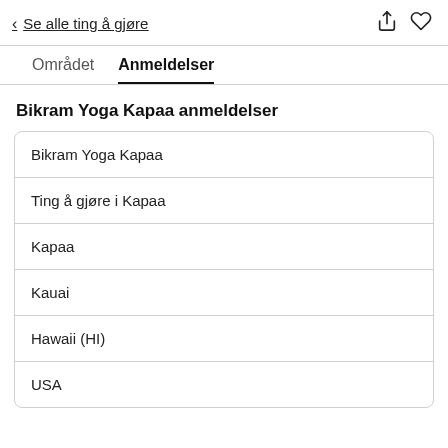< Se alle ting å gjøre
Området   Anmeldelser
Bikram Yoga Kapaa anmeldelser
Bikram Yoga Kapaa
Ting å gjøre i Kapaa
Kapaa
Kauai
Hawaii (HI)
USA